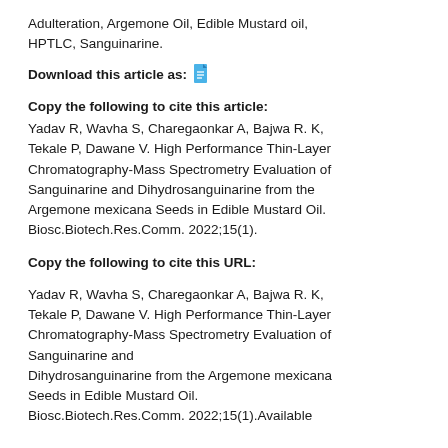Adulteration, Argemone Oil, Edible Mustard oil, HPTLC, Sanguinarine.
Download this article as:
Copy the following to cite this article:
Yadav R, Wavha S, Charegaonkar A, Bajwa R. K, Tekale P, Dawane V. High Performance Thin-Layer Chromatography-Mass Spectrometry Evaluation of Sanguinarine and Dihydrosanguinarine from the Argemone mexicana Seeds in Edible Mustard Oil. Biosc.Biotech.Res.Comm. 2022;15(1).
Copy the following to cite this URL:
Yadav R, Wavha S, Charegaonkar A, Bajwa R. K, Tekale P, Dawane V. High Performance Thin-Layer Chromatography-Mass Spectrometry Evaluation of Sanguinarine and Dihydrosanguinarine from the Argemone mexicana Seeds in Edible Mustard Oil. Biosc.Biotech.Res.Comm. 2022;15(1).Available